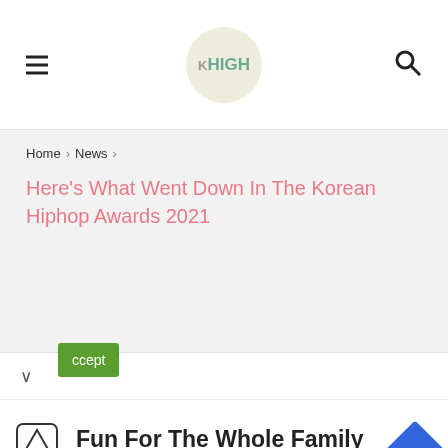K HIGH
Home > News >
Here's What Went Down In The Korean Hiphop Awards 2021
[Figure (advertisement): Topgolf advertisement banner with logo and text 'Fun For The Whole Family' and 'Topgolf']